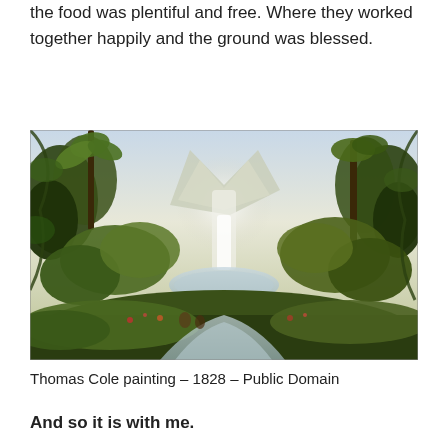the food was plentiful and free. Where they worked together happily and the ground was blessed.
[Figure (illustration): Thomas Cole landscape painting from 1828 depicting a lush, idyllic garden or paradise scene with dense green trees framing the composition, a distant mountain peak rising through mist, a waterfall or river in the middle distance, and flowers and figures in the foreground.]
Thomas Cole painting – 1828 – Public Domain
And so it is with me.